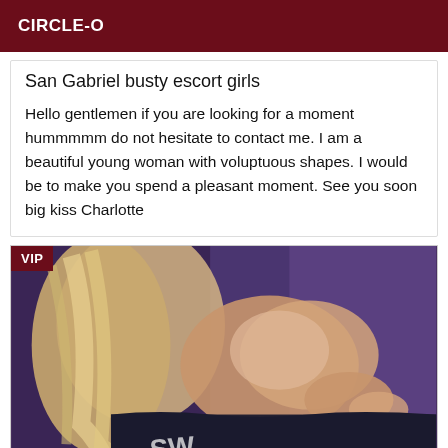CIRCLE-O
San Gabriel busty escort girls
Hello gentlemen if you are looking for a moment hummmmm do not hesitate to contact me. I am a beautiful young woman with voluptuous shapes. I would be to make you spend a pleasant moment. See you soon big kiss Charlotte
[Figure (photo): Photo of a person with blonde hair against a dark purple background, with a VIP badge in the top-left corner]